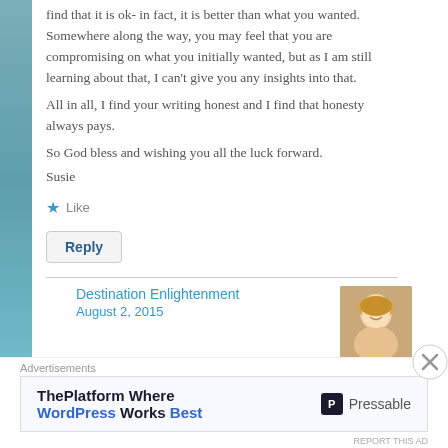find that it is ok- in fact, it is better than what you wanted. Somewhere along the way, you may feel that you are compromising on what you initially wanted, but as I am still learning about that, I can't give you any insights into that.
All in all, I find your writing honest and I find that honesty always pays.
So God bless and wishing you all the luck forward.
Susie
Like
Reply
Destination Enlightenment
August 2, 2015
Advertisements
[Figure (infographic): Advertisement banner for Pressable WordPress hosting. Text reads: ThePlatform Where WordPress Works Best. Pressable logo on right.]